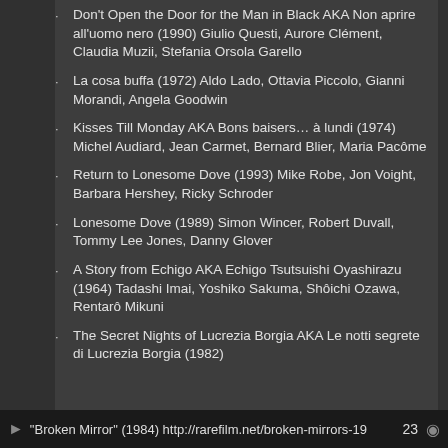Don't Open the Door for the Man in Black AKA Non aprire all'uomo nero (1990) Giulio Questi, Aurore Clément, Claudia Muzii, Stefania Orsola Garello
La cosa buffa (1972) Aldo Lado, Ottavia Piccolo, Gianni Morandi, Angela Goodwin
Kisses Till Monday AKA Bons baisers… à lundi (1974) Michel Audiard, Jean Carmet, Bernard Blier, Maria Pacôme
Return to Lonesome Dove (1993) Mike Robe, Jon Voight, Barbara Hershey, Ricky Schroder
Lonesome Dove (1989) Simon Wincer, Robert Duvall, Tommy Lee Jones, Danny Glover
A Story from Echigo AKA Echigo Tsutsuishi Oyashirazu (1964) Tadashi Imai, Yoshiko Sakuma, Shôichi Ozawa, Rentarô Mikuni
The Secret Nights of Lucrezia Borgia AKA Le notti segrete di Lucrezia Borgia (1982)
"Broken Mirror" (1984) http://rarefilm.net/broken-mirrors-19   23